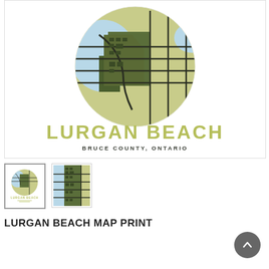[Figure (illustration): Product image of Lurgan Beach Map Print showing a circular map with green and light blue tones depicting streets and geography of Lurgan Beach. Below the circle: large text 'LURGAN BEACH' in olive/yellow-green, and smaller text 'BRUCE COUNTY, ONTARIO' in dark gray.]
[Figure (illustration): Thumbnail 1: full product poster showing circular map with 'LURGAN BEACH' text, with white border — selected/active thumbnail.]
[Figure (illustration): Thumbnail 2: close-up detail of the map showing streets and buildings in olive green tones.]
LURGAN BEACH MAP PRINT